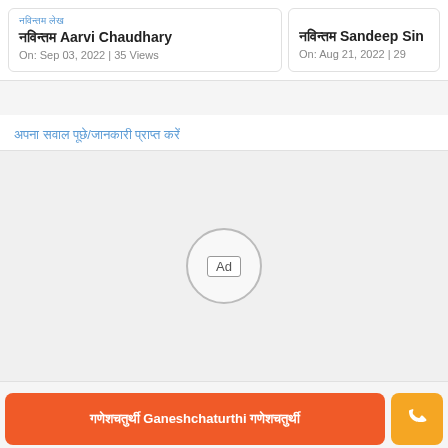नविन्तम लेख — Aarvi Chaudhary
On: Sep 03, 2022 | 35 Views
नविन्तम लेख — Sandeep Sin...
On: Aug 21, 2022 | 29...
अपना सवाल पूछे/जानकारी प्राप्त करें
[Figure (other): Ad placeholder circle with 'Ad' label]
गणेशचतुर्थी Ganeshchaturthi गणेशचतुर्थी